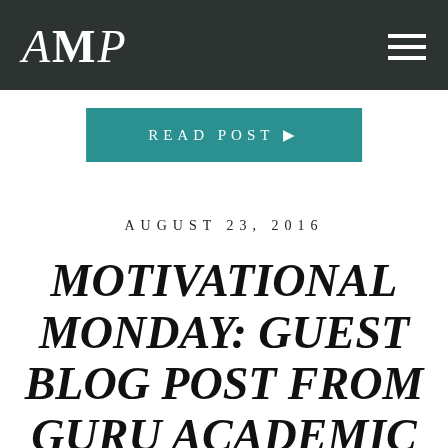AMP
READ POST ▶
AUGUST 23, 2016
MOTIVATIONAL MONDAY: GUEST BLOG POST FROM GURU ACADEMIC ADVISING